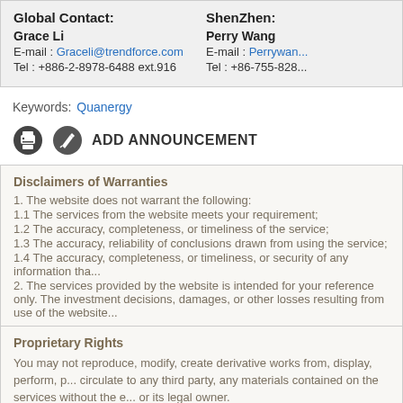| Global Contact: | ShenZhen: |
| Grace Li | Perry Wang |
| E-mail : Graceli@trendforce.com | E-mail : Perrywan... |
| Tel : +886-2-8978-6488 ext.916 | Tel : +86-755-828... |
Keywords: Quanergy
ADD ANNOUNCEMENT
Disclaimers of Warranties
1. The website does not warrant the following:
1.1 The services from the website meets your requirement;
1.2 The accuracy, completeness, or timeliness of the service;
1.3 The accuracy, reliability of conclusions drawn from using the service;
1.4 The accuracy, completeness, or timeliness, or security of any information tha...
2. The services provided by the website is intended for your reference only. The investment decisions, damages, or other losses resulting from use of the website...
Proprietary Rights
You may not reproduce, modify, create derivative works from, display, perform, p... circulate to any third party, any materials contained on the services without the e... or its legal owner.